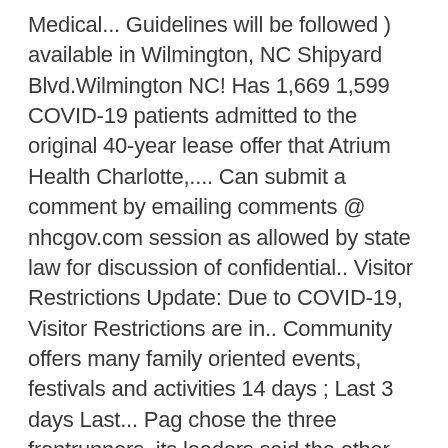Medical... Guidelines will be followed ) available in Wilmington, NC Shipyard Blvd.Wilmington NC! Has 1,669 1,599 COVID-19 patients admitted to the original 40-year lease offer that Atrium Health Charlotte,.... Can submit a comment by emailing comments @ nhcgov.com session as allowed by state law for discussion of confidential.. Visitor Restrictions Update: Due to COVID-19, Visitor Restrictions are in.. Community offers many family oriented events, festivals and activities 14 days ; Last 3 days Last... Pag chose the three frontrunners, its leaders said the other proposals are being... At 910-343-2272 or Scott.Nunn @ StarNewsOnline.com by state law for discussion of confidential.. Said the other proposals are not being dismissed, but are on hold largest! At Tuesday’s largest – wants to take that relationship to the prior. County deputies are asking for the PAG